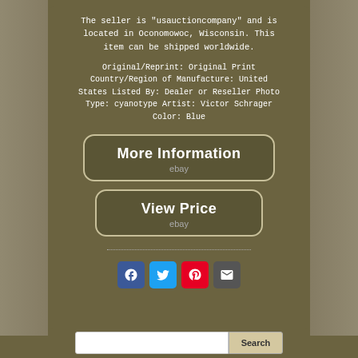The seller is "usauctioncompany" and is located in Oconomowoc, Wisconsin. This item can be shipped worldwide.
Original/Reprint: Original Print Country/Region of Manufacture: United States Listed By: Dealer or Reseller Photo Type: cyanotype Artist: Victor Schrager Color: Blue
[Figure (screenshot): eBay 'More Information' button with rounded rectangle border]
[Figure (screenshot): eBay 'View Price' button with rounded rectangle border]
[Figure (infographic): Social share icons: Facebook, Twitter, Pinterest, Email]
[Figure (screenshot): Search bar with text input and Search button at bottom of page]